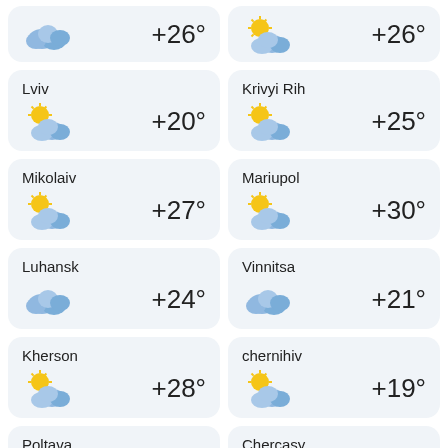[Figure (infographic): Weather card top-left: cloudy icon, +26°]
[Figure (infographic): Weather card top-right: partly cloudy icon, +26°]
Lviv +20°
Krivyi Rih +25°
Mikolaiv +27°
Mariupol +30°
Luhansk +24°
Vinnitsa +21°
Kherson +28°
chernihiv +19°
Poltava
Chercasy